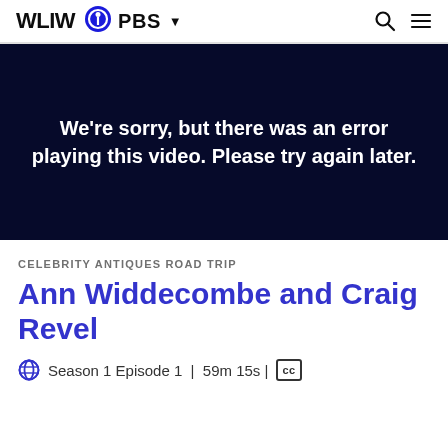WLIW PBS
[Figure (screenshot): Video player error screen with dark navy background displaying error message: We're sorry, but there was an error playing this video. Please try again later.]
CELEBRITY ANTIQUES ROAD TRIP
Ann Widdecombe and Craig Revel
Season 1 Episode 1 | 59m 15s | CC